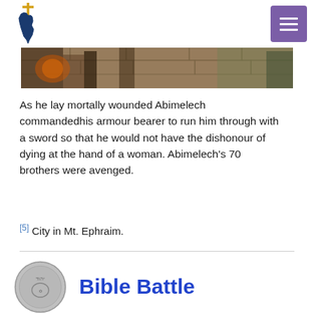Logo and navigation menu
[Figure (illustration): A banner image showing a historical/biblical battle scene with figures in ancient attire against a stone wall background]
As he lay mortally wounded Abimelech commandedhis armour bearer to run him through with a sword so that he would not have the dishonour of dying at the hand of a woman. Abimelech's 70 brothers were avenged.
[5] City in Mt. Ephraim.
[Figure (illustration): A silver coin and the beginning of a 'Bible Battle' section header logo]